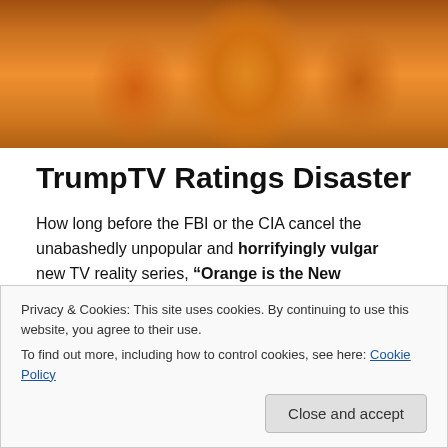[Figure (photo): Photo showing people wearing orange shirts/clothing, cropped to show torsos]
TrumpTV Ratings Disaster
How long before the FBI or the CIA cancel the unabashedly unpopular and horrifyingly vulgar new TV reality series, “Orange is the New Moscow”?
It’d be nice to think that maybe Congress and the Senate could get together for about a five minute confab and clear
Privacy & Cookies: This site uses cookies. By continuing to use this website, you agree to their use.
To find out more, including how to control cookies, see here: Cookie Policy
Close and accept